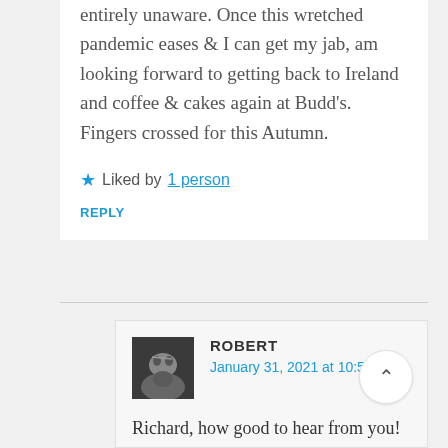entirely unaware. Once this wretched pandemic eases & I can get my jab, am looking forward to getting back to Ireland and coffee & cakes again at Budd's. Fingers crossed for this Autumn.
★ Liked by 1 person
REPLY
ROBERT
January 31, 2021 at 10:53 pm
Richard, how good to hear from you! I'm surprised we never